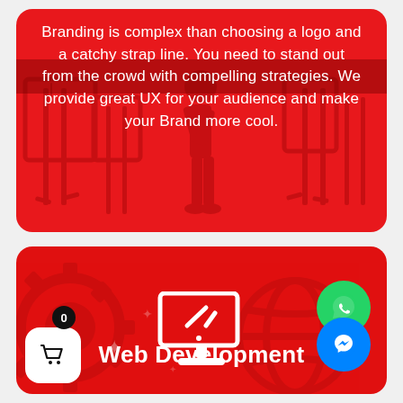[Figure (illustration): Red card with branding text and decorative easel silhouettes in background]
Branding is complex than choosing a logo and a catchy strap line. You need to stand out from the crowd with compelling strategies. We provide great UX for your audience and make your Brand more cool.
[Figure (illustration): Red card with monitor/web development icon, Web Development label, WhatsApp button, Messenger button, cart button with badge 0, and decorative gear/globe background elements]